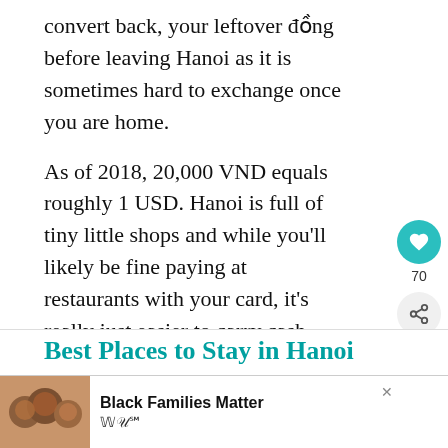convert back, your leftover đồng before leaving Hanoi as it is sometimes hard to exchange once you are home.
As of 2018, 20,000 VND equals roughly 1 USD. Hanoi is full of tiny little shops and while you'll likely be fine paying at restaurants with your card, it's really just easier to carry cash. You'll find ATMs dotted around Hanoi.
Best Places to Stay in Hanoi
[Figure (other): Advertisement banner: Black Families Matter with photo of smiling family]